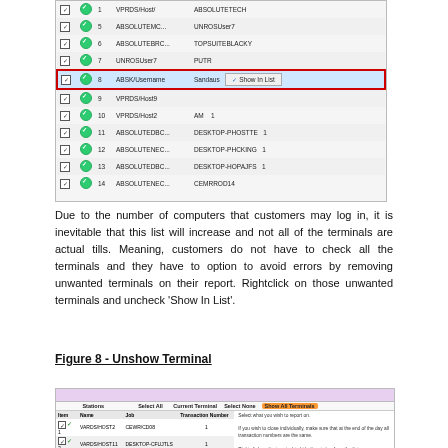[Figure (screenshot): Screenshot of a terminal list table with checkboxes and green check icons. Row 8 is highlighted in blue with a red border showing a right-click context menu with 'Show In List' option. Rows show entries: 1 VPRDS/Host/, ABSOLUTETECH; 5 ABSOLUTEMC..., UNROSUser7; 6 ABSOLUTEBRC..., TOPSUITEBLACKY; 7 UNROSUser7, PUTR; 8 (highlighted) ABSK/Username, Sandaus, with context menu; 10 VPRDS/Host2, AM, 1; 11 ABSOLUTEDBC..., DESKTOP-PHOSTTE, 1; 12 ABSOLUTENEC..., DESKTOP-PHCKING, 1; 13 ABSOLUTEDBC..., DESKTOP-HOPAJFS, 1; 14 ABSOLUTENEC..., CEMRROD14]
Due to the number of computers that customers may log in, it is inevitable that this list will increase and not all of the terminals are actual tills. Meaning, customers do not have to check all the terminals and they have to option to avoid errors by removing unwanted terminals on their report. Rightclick on those unwanted terminals and uncheck 'Show In List'.
Figure 8 - Unshow Terminal
[Figure (screenshot): Screenshot of Stations panel showing columns: Stations, Select All, Current Terminal, Select None, Show All Terminals (orange button). Below shows table with headers: Item, Name, Job, Transaction Number. Rows: 1 VARDS/HOST2, CEWR/CD08, 1; 2 VARDS/HOST11, DESKTOP-CFUJTLS, 1; 3 ABSOLUTEMC..., VARDS/HOST. Right side shows text: 'Select what you wish to report on. If you wish to close individually, make sure that at the end of the day all transaction numbers are the same. Right click on the terminal to hide the station from the list.']